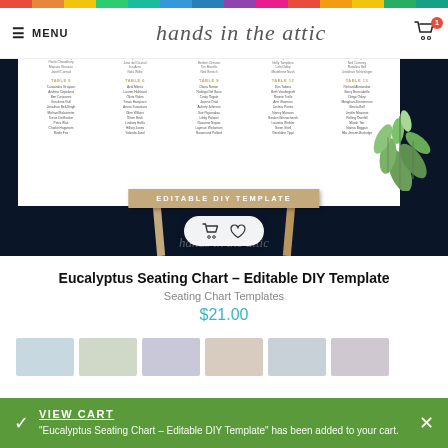MENU | hands in the attic | cart (1)
[Figure (photo): Product image of Eucalyptus Seating Chart template on an easel against a dark navy background, showing a white seating chart paper with multiple tables listed, eucalyptus leaf decoration, and an 'EDITABLE DIY TEMPLATE' banner. Cart/wishlist buttons overlay on the image. 'hands in the attic' watermark in script.]
Eucalyptus Seating Chart – Editable DIY Template
Seating Chart Templates
$21.00
VIEW CART
"Eucalyptus Seating Chart – Editable DIY Template" has been added to your cart.